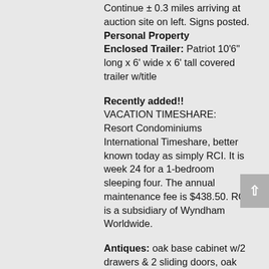Continue ± 0.3 miles arriving at auction site on left. Signs posted.
Personal Property
Enclosed Trailer: Patriot 10'6" long x 6' wide x 6' tall covered trailer w/title
Recently added!!
VACATION TIMESHARE:  Resort Condominiums International Timeshare, better known today as simply RCI. It is week 24 for a 1-bedroom sleeping four. The annual maintenance fee is $438.50. RCI is a subsidiary of Wyndham Worldwide.
Antiques: oak base cabinet w/2 drawers & 2 sliding doors, oak chest